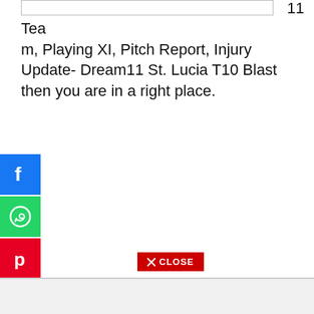11 Team, Playing XI, Pitch Report, Injury Update- Dream11 St. Lucia T10 Blast then you are in a right place.
[Figure (other): Facebook share button (blue square with white F icon)]
[Figure (other): WhatsApp share button (green square with white phone/chat icon)]
[Figure (other): Pinterest share button (red square with white P icon)]
[Figure (other): More/Add share button (blue square with white plus icon)]
[Figure (other): Red CLOSE button with X icon]